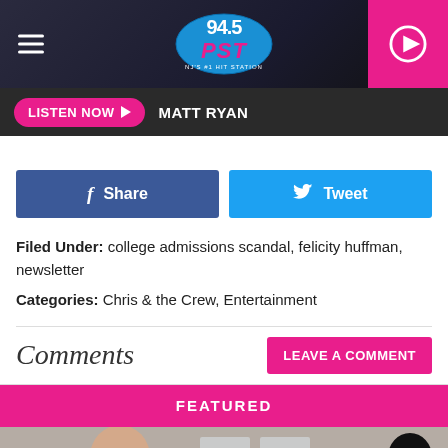[Figure (screenshot): 94.5 PST radio station header with logo, hamburger menu, and pink play button]
LISTEN NOW ▶  MATT RYAN
[Figure (other): Facebook Share button and Twitter Tweet button row]
Filed Under: college admissions scandal, felicity huffman, newsletter
Categories: Chris & the Crew, Entertainment
Comments
LEAVE A COMMENT
FEATURED
[Figure (photo): Man with glasses smiling, woman, and silhouette of person with camera on right side]